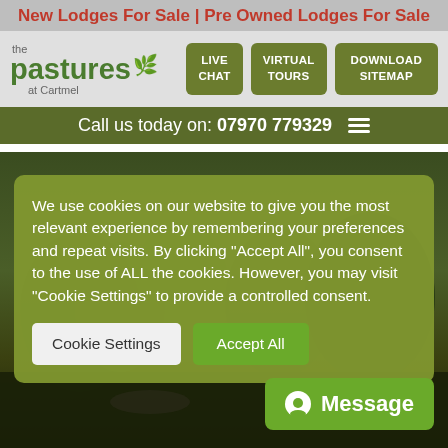New Lodges For Sale | Pre Owned Lodges For Sale
[Figure (screenshot): The Pastures at Cartmel logo with leaf icon and navigation buttons: LIVE CHAT, VIRTUAL TOURS, DOWNLOAD SITEMAP]
Call us today on: 07970 779329
We use cookies on our website to give you the most relevant experience by remembering your preferences and repeat visits. By clicking "Accept All", you consent to the use of ALL the cookies. However, you may visit "Cookie Settings" to provide a controlled consent.
Cookie Settings | Accept All
[Figure (photo): Hero background image showing trees and landscape at The Pastures at Cartmel]
Message